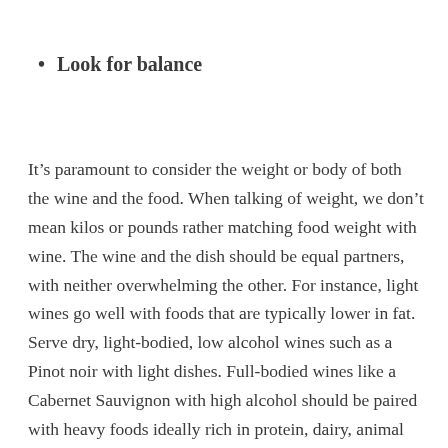Look for balance
It’s paramount to consider the weight or body of both the wine and the food. When talking of weight, we don’t mean kilos or pounds rather matching food weight with wine. The wine and the dish should be equal partners, with neither overwhelming the other. For instance, light wines go well with foods that are typically lower in fat. Serve dry, light-bodied, low alcohol wines such as a Pinot noir with light dishes. Full-bodied wines like a Cabernet Sauvignon with high alcohol should be paired with heavy foods ideally rich in protein, dairy, animal fat or rich sauces.